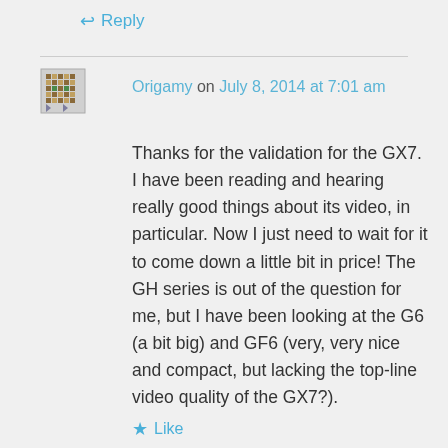↩ Reply
Origamy on July 8, 2014 at 7:01 am
Thanks for the validation for the GX7. I have been reading and hearing really good things about its video, in particular. Now I just need to wait for it to come down a little bit in price! The GH series is out of the question for me, but I have been looking at the G6 (a bit big) and GF6 (very, very nice and compact, but lacking the top-line video quality of the GX7?).
Like